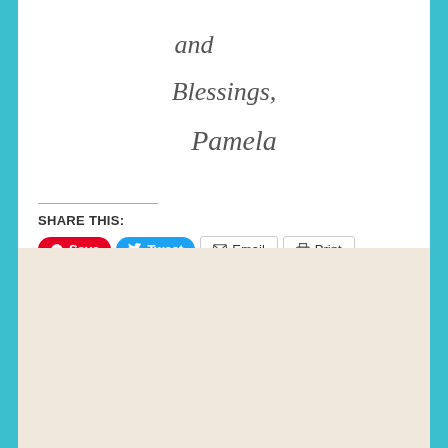[Figure (illustration): Handwritten cursive text reading 'and Blessings, Pamela' centered on white background]
SHARE THIS:
[Figure (screenshot): Social share buttons: Save (Pinterest, red), Tweet (Twitter, blue), Email (outline), Print (outline)]
[Figure (screenshot): Like button with star icon and 3 blogger avatar thumbnails]
3 bloggers like this.
CORNER NEWS
At Home on the Corner